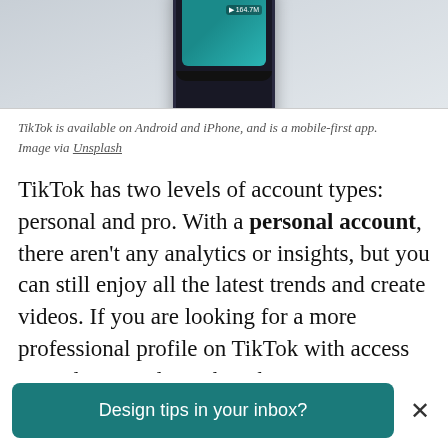[Figure (photo): Photo of a smartphone (TikTok app visible on screen), cropped at the top portion showing just the upper part of the phone against a light grey background.]
TikTok is available on Android and iPhone, and is a mobile-first app. Image via Unsplash
TikTok has two levels of account types: personal and pro. With a personal account, there aren't any analytics or insights, but you can still enjoy all the latest trends and create videos. If you are looking for a more professional profile on TikTok with access to analytics and insights, then a pro account might be what you need.
Design tips in your inbox?